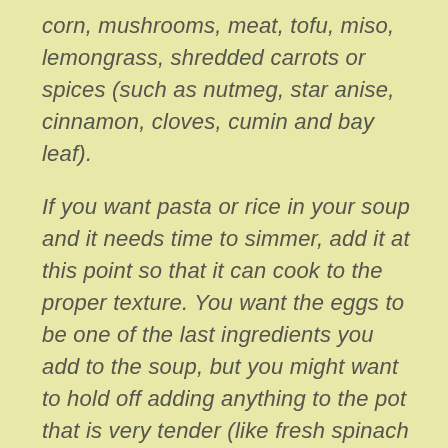corn, mushrooms, meat, tofu, miso, lemongrass, shredded carrots or spices (such as nutmeg, star anise, cinnamon, cloves, cumin and bay leaf).
If you want pasta or rice in your soup and it needs time to simmer, add it at this point so that it can cook to the proper texture. You want the eggs to be one of the last ingredients you add to the soup, but you might want to hold off adding anything to the pot that is very tender (like fresh spinach or chives) until the broth is fully heated and the starches properly softened.